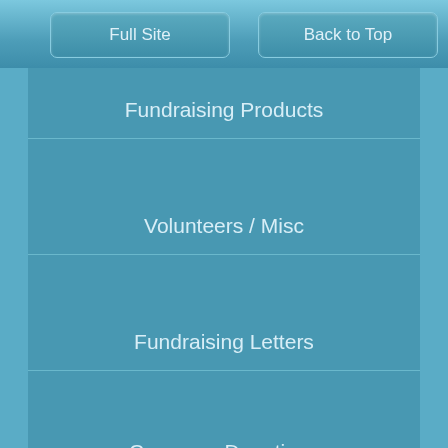Full Site
Back to Top
Fundraising Products
Volunteers / Misc
Fundraising Letters
Company Donations
Fundraising Books
List of Ideas